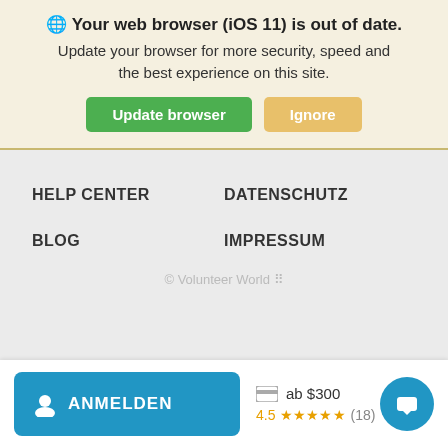🌐 Your web browser (iOS 11) is out of date. Update your browser for more security, speed and the best experience on this site.
Update browser | Ignore
HELP CENTER
DATENSCHUTZ
BLOG
IMPRESSUM
© Volunteer World ⠿
ANMELDEN
ab $300
4.5 ★★★★★ (18)